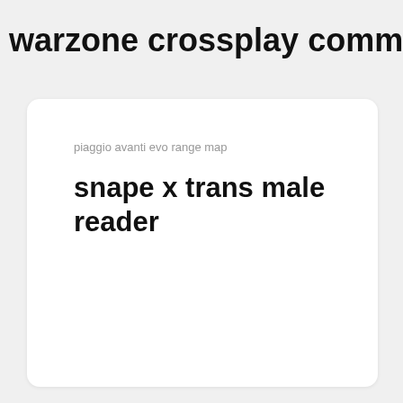warzone crossplay communicat
piaggio avanti evo range map
snape x trans male reader